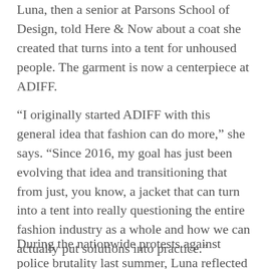Luna, then a senior at Parsons School of Design, told Here & Now about a coat she created that turns into a tent for unhoused people. The garment is now a centerpiece at ADIFF.
“I originally started ADIFF with this general idea that fashion can do more,” she says. “Since 2016, my goal has just been evolving that idea and transitioning that from just, you know, a jacket that can turn into a tent into really questioning the entire fashion industry as a whole and how we can actually put solutions into practice.”
During the nationwide protests against police brutality last summer, Luna reflected on the roles of fashion plays in the world, especially within systemic racism, and how to make